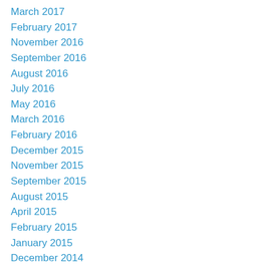March 2017
February 2017
November 2016
September 2016
August 2016
July 2016
May 2016
March 2016
February 2016
December 2015
November 2015
September 2015
August 2015
April 2015
February 2015
January 2015
December 2014
November 2014
October 2014